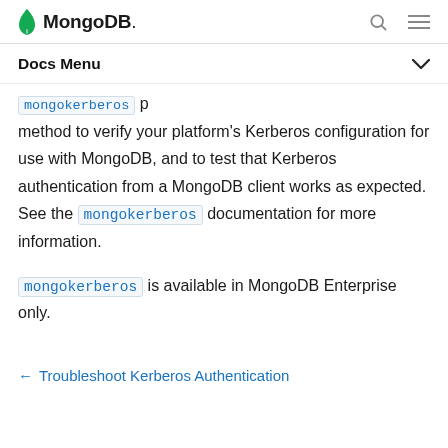MongoDB
Docs Menu
method to verify your platform's Kerberos configuration for use with MongoDB, and to test that Kerberos authentication from a MongoDB client works as expected. See the mongokerberos documentation for more information.
mongokerberos is available in MongoDB Enterprise only.
← Troubleshoot Kerberos Authentication